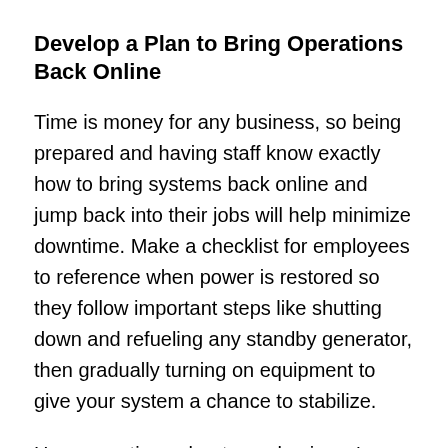Develop a Plan to Bring Operations Back Online
Time is money for any business, so being prepared and having staff know exactly how to bring systems back online and jump back into their jobs will help minimize downtime. Make a checklist for employees to reference when power is restored so they follow important steps like shutting down and refueling any standby generator, then gradually turning on equipment to give your system a chance to stabilize.
Have questions about your business's utility needs? The BWL Business Advantage team is